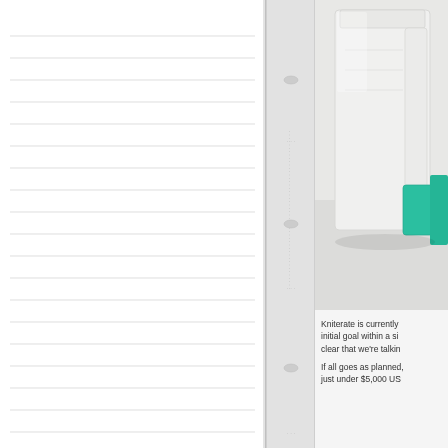[Figure (illustration): Left portion of page showing lined notebook paper with horizontal ruled lines on white background, with a binding spine in the middle.]
[Figure (photo): Photo of a Kniterate knitting machine with white body and green teal accent/bobbin holder, on a light grey surface.]
Kniterate is currently [text cut off] initial goal within a si[text cut off] clear that we're talkin[text cut off]
If all goes as planned,[text cut off] just under $5,000 US[text cut off]